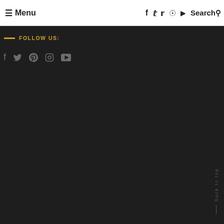≡ Menu   f  𝕏  𝒫  ◎  ▶  Search 🔍
FOLLOW US:
[Figure (other): Social media icons row on dark background: Facebook, Twitter, Pinterest, Instagram, YouTube]
Back to Top ↑